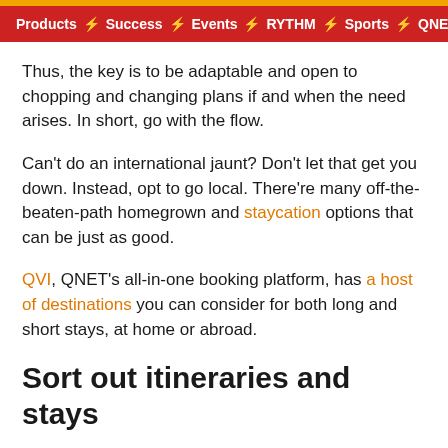Products ⚡ Success ⚡ Events ⚡ RYTHM ⚡ Sports ⚡ QNE
Thus, the key is to be adaptable and open to chopping and changing plans if and when the need arises. In short, go with the flow.
Can't do an international jaunt? Don't let that get you down. Instead, opt to go local. There're many off-the-beaten-path homegrown and staycation options that can be just as good.
QVI, QNET's all-in-one booking platform, has a host of destinations you can consider for both long and short stays, at home or abroad.
Sort out itineraries and stays